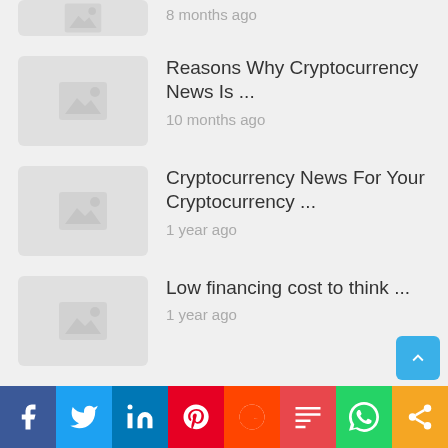8 months ago
Reasons Why Cryptocurrency News Is ...
10 months ago
Cryptocurrency News For Your Cryptocurrency ...
1 year ago
Low financing cost to think ...
1 year ago
How stock is needed to ...
1 year ago